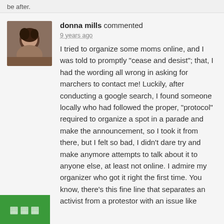be after.
[Figure (photo): Small avatar/profile photo of donna mills, showing a person with dark hair]
donna mills commented
9 years ago
I tried to organize some moms online, and I was told to promptly "cease and desist"; that, I had the wording all wrong in asking for marchers to contact me! Luckily, after conducting a google search, I found someone locally who had followed the proper, "protocol" required to organize a spot in a parade and make the announcement, so I took it from there, but I felt so bad, I didn't dare try and make anymore attempts to talk about it to anyone else, at least not online. I admire my organizer who got it right the first time. You know, there's this fine line that separates an activist from a protestor with an issue like